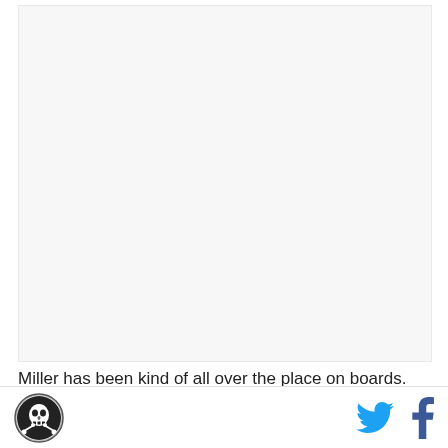[Figure (photo): Large image placeholder area, light gray background]
Miller has been kind of all over the place on boards. I've seen him as the second tackle off the board in the
[Figure (logo): Round skull logo icon for sports/media site]
[Figure (other): Twitter bird icon and Facebook f icon social sharing buttons]